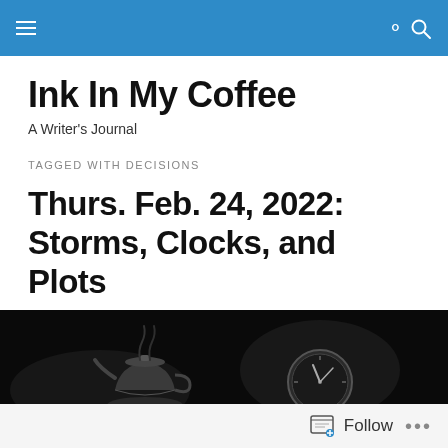Ink In My Coffee — navigation bar
Ink In My Coffee
A Writer's Journal
TAGGED WITH DECISIONS
Thurs. Feb. 24, 2022: Storms, Clocks, and Plots
[Figure (photo): Dark black and white photo showing a teacup and a clock on a dark background]
Follow ...